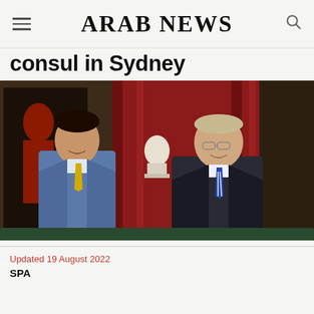ARAB NEWS
consul in Sydney
[Figure (photo): Two men in suits standing side by side posing for a photo inside a formal room with red curtains, paintings, and a white bust sculpture in the background. The man on the left wears a blue suit with a yellow tie; the man on the right wears a dark suit with a blue and white striped tie and glasses.]
Updated 19 August 2022
SPA